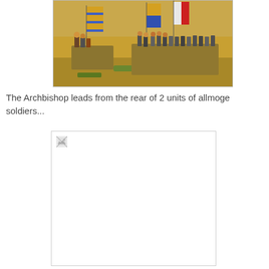[Figure (photo): Photograph of miniature wargaming figures depicting mounted soldiers and infantry with colorful flags/banners on a tan/grass terrain base.]
The Archbishop leads from the rear of 2 units of allmoge soldiers...
[Figure (photo): Broken/missing image placeholder shown as a white rectangle with a small broken image icon in the upper left corner.]